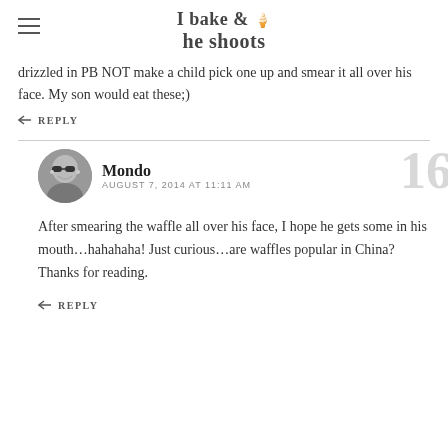I bake & he shoots
drizzled in PB NOT make a child pick one up and smear it all over his face. My son would eat these;)
REPLY
Mondo  AUGUST 7, 2014 AT 11:11 AM
After smearing the waffle all over his face, I hope he gets some in his mouth…hahahaha! Just curious…are waffles popular in China? Thanks for reading.
REPLY